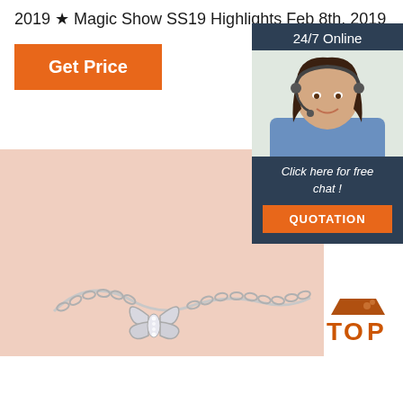2019 ★ Magic Show SS19 Highlights Feb 8th, 2019
Get Price
[Figure (infographic): Customer service chat widget showing '24/7 Online' label, photo of smiling woman with headset, 'Click here for free chat!' text, and orange QUOTATION button — all on dark navy background]
[Figure (photo): Silver butterfly pendant necklace with crystal details on a chain, displayed on a soft pink/peach background]
[Figure (logo): Orange and red TOP badge/logo in bottom right corner]